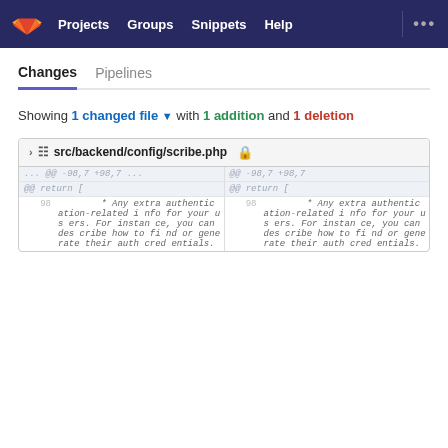Projects  Groups  Snippets  Help  ...
Changes  Pipelines
Showing 1 changed file ▾ with 1 addition and 1 deletion
| Line | Left Pane | Line | Right Pane |
| --- | --- | --- | --- |
| ... | @@ -98,7 +98,7  ...  @@ return [ | ... | @@ -98,7 +98,7  @@ return [ |
| 98 | * Any extra authentication-related info for your users. For instance, you can describe how to find or generate their auth credentials. | 98 | * Any extra authentication-related info for your users. For instance, you can describe how to find or generate their auth credentials. |